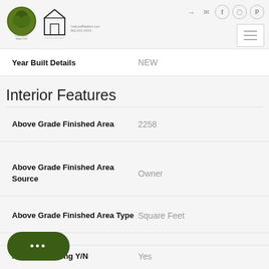Oak Leaf Realty header with logo, equal housing logo, social icons, and hamburger menu
| Field | Value |
| --- | --- |
| Year Built Details | NEW |
| Above Grade Finished Area | 2258 |
| Above Grade Finished Area Source | Owner |
| Above Grade Finished Area Type | Square Feet |
| Air Conditioning Y/N | Yes |
Interior Features